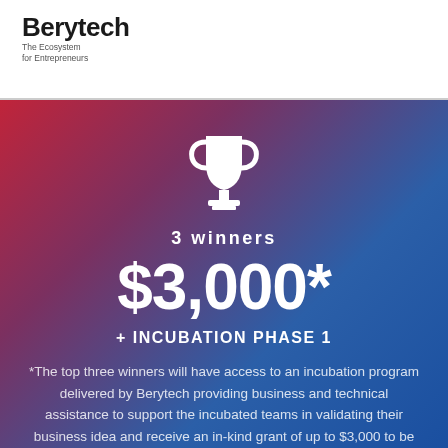Berytech
The Ecosystem
for Entrepreneurs
[Figure (illustration): White trophy cup icon on gradient red-to-blue background]
3 winners
$3,000*
+ INCUBATION PHASE 1
*The top three winners will have access to an incubation program delivered by Berytech providing business and technical assistance to support the incubated teams in validating their business idea and receive an in-kind grant of up to $3,000 to be spent